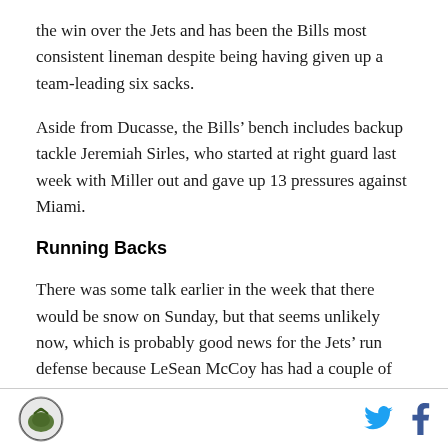the win over the Jets and has been the Bills most consistent lineman despite being having given up a team-leading six sacks.
Aside from Ducasse, the Bills' bench includes backup tackle Jeremiah Sirles, who started at right guard last week with Miller out and gave up 13 pressures against Miami.
Running Backs
There was some talk earlier in the week that there would be snow on Sunday, but that seems unlikely now, which is probably good news for the Jets' run defense because LeSean McCoy has had a couple of
Logo and social media icons